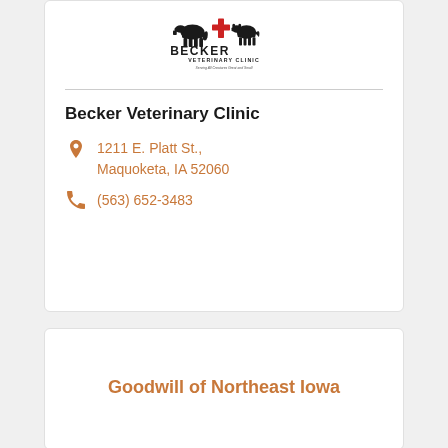[Figure (logo): Becker Veterinary Clinic logo with silhouettes of a horse, cross/plus sign, and cow, with text BECKER VETERINARY CLINIC and tagline Serving All Creatures Great and Small]
Becker Veterinary Clinic
1211 E. Platt St., Maquoketa, IA 52060
(563) 652-3483
Goodwill of Northeast Iowa